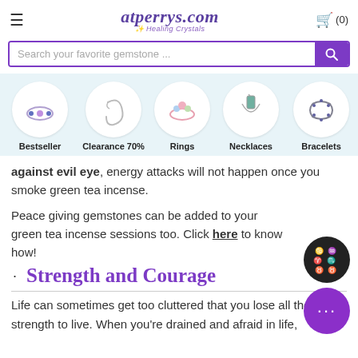atperrys.com Healing Crystals
[Figure (screenshot): Search bar with purple search button and magnifying glass icon, placeholder text: Search your favorite gemstone ...]
[Figure (infographic): Navigation row with 5 circular icons: Bestseller (ring with gemstones), Clearance 70% (necklace chain), Rings (opal ring), Necklaces (pendant necklace), Bracelets (chain bracelet)]
against evil eye, energy attacks will not happen once you smoke green tea incense.
Peace giving gemstones can be added to your green tea incense sessions too. Click here to know how!
Strength and Courage
Life can sometimes get too cluttered that you lose all the strength to live. When you're drained and afraid in life,